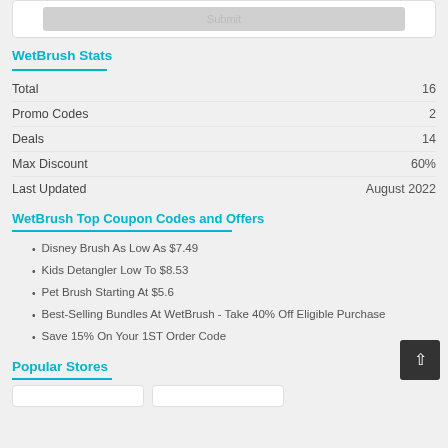[Figure (screenshot): Submit button area, gray rounded rectangle with 'Submit' label]
WetBrush Stats
| Total | 16 |
| Promo Codes | 2 |
| Deals | 14 |
| Max Discount | 60% |
| Last Updated | August 2022 |
WetBrush Top Coupon Codes and Offers
Disney Brush As Low As $7.49
Kids Detangler Low To $8.53
Pet Brush Starting At $5.6
Best-Selling Bundles At WetBrush - Take 40% Off Eligible Purchase
Save 15% On Your 1ST Order Code
Popular Stores